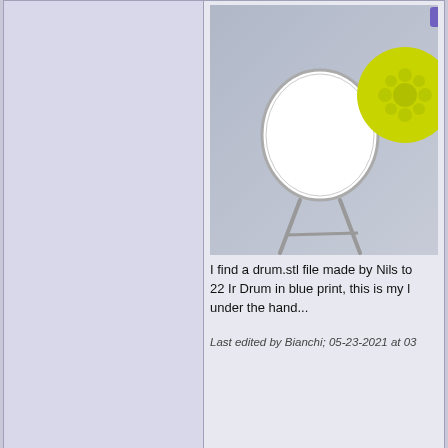[Figure (photo): 3D rendered image showing a white drum/disc shape on a stand and a yellow gear/snowflake shape, on a gray gradient background]
I find a drum.stl file made by Nils to 22 Ir Drum in blue print, this is my l under the hand...
Last edited by Bianchi; 05-23-2021 at 03
05-23-2021 05:35 AM
strobro32
UZI Talk Life Member
That looks great.